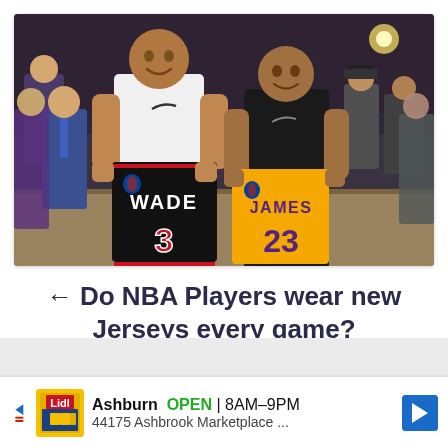[Figure (photo): Two NBA players (LeBron James in white jersey and Dwayne Wade in black jersey) holding each other's jerseys after a game. LeBron holds up a black Wade #3 Heat jersey and Wade holds up a yellow James #23 Lakers jersey. Arena crowd visible in background.]
← Do NBA Players wear new Jerseys every game?
Ashburn OPEN | 8AM–9PM 44175 Ashbrook Marketplace ...